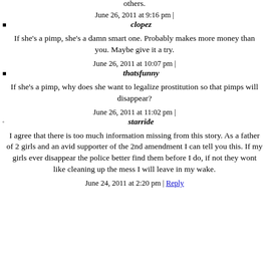others.
June 26, 2011 at 9:16 pm |
clopez
If she's a pimp, she's a damn smart one. Probably makes more money than you. Maybe give it a try.
June 26, 2011 at 10:07 pm |
thatsfunny
If she's a pimp, why does she want to legalize prostitution so that pimps will disappear?
June 26, 2011 at 11:02 pm |
starride
I agree that there is too much information missing from this story. As a father of 2 girls and an avid supporter of the 2nd amendment I can tell you this. If my girls ever disappear the police better find them before I do, if not they wont like cleaning up the mess I will leave in my wake.
June 24, 2011 at 2:20 pm | Reply